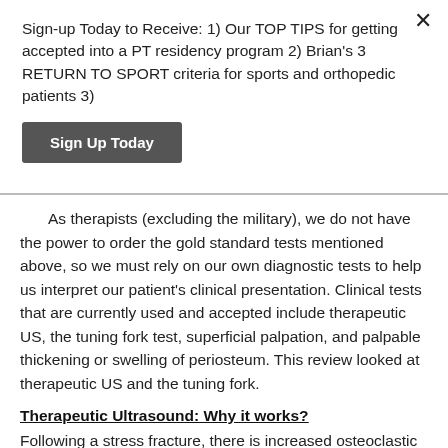Sign-up Today to Receive: 1) Our TOP TIPS for getting accepted into a PT residency program 2) Brian's 3 RETURN TO SPORT criteria for sports and orthopedic patients 3)
Sign Up Today
As therapists (excluding the military), we do not have the power to order the gold standard tests mentioned above, so we must rely on our own diagnostic tests to help us interpret our patient's clinical presentation. Clinical tests that are currently used and accepted include therapeutic US, the tuning fork test, superficial palpation, and palpable thickening or swelling of periosteum. This review looked at therapeutic US and the tuning fork.
Therapeutic Ultrasound: Why it works?
Following a stress fracture, there is increased osteoclastic resorption, which leads to periosteal damage. The increased resorption allows for increased heat absorption during